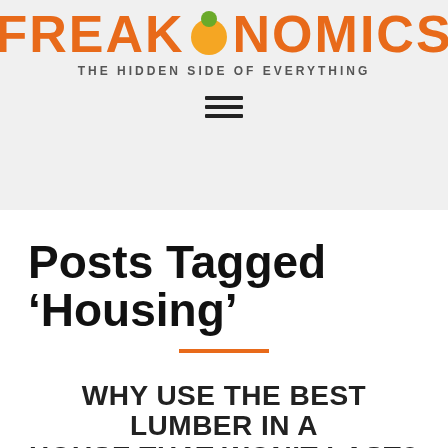FREAKONOMICS — THE HIDDEN SIDE OF EVERYTHING
Posts Tagged ‘Housing’
WHY USE THE BEST LUMBER IN A HOUSE THAT WON’T LAST?
APR 7, 2014